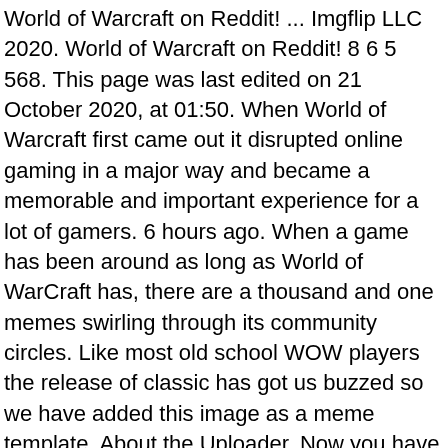World of Warcraft on Reddit! ... Imgflip LLC 2020. World of Warcraft on Reddit! 8 6 5 568. This page was last edited on 21 October 2020, at 01:50. When World of Warcraft first came out it disrupted online gaming in a major way and became a memorable and important experience for a lot of gamers. 6 hours ago. When a game has been around as long as World of WarCraft has, there are a thousand and one memes swirling through its community circles. Like most old school WOW players the release of classic has got us buzzed so we have added this image as a meme template. About the Uploader. Now you have a great chance to supplement your wardrobe and show your devotion to this awesome Warlock.Created with an impressive and unique design.Made from 100% cotton. save. The World Of Warcraft coterie prides itself in being one of the best meme communities in the gaming world. The brown and blackish combination of colors makes it a grim sort of a tattoo. #sylvanaswindrunner #sylvanas #worldofwarcraftsylvanas #horde #worldofwarcrafthorde, Cast your shadow bolts when